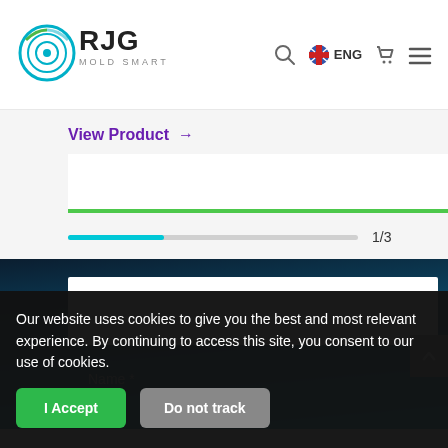[Figure (logo): RJG Mold Smart logo with circular icon]
[Figure (screenshot): Website navigation bar with search, ENG language, cart, and hamburger menu icons]
View Product →
[Figure (screenshot): Product card slider showing 1/3 progress with cyan progress bar and green underline]
1/3
[Figure (screenshot): Dark teal/navy gradient section with white content box and gray scroll button]
Name *
Our website uses cookies to give you the best and most relevant experience. By continuing to access this site, you consent to our use of cookies.
I Accept
Do not track